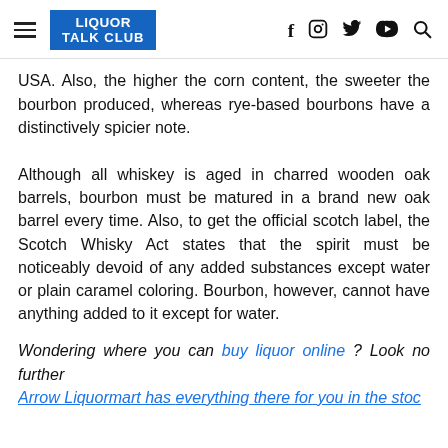LIQUOR TALK CLUB [logo] [hamburger menu] [social icons: f, instagram, twitter, youtube, search]
USA. Also, the higher the corn content, the sweeter the bourbon produced, whereas rye-based bourbons have a distinctively spicier note.
Although all whiskey is aged in charred wooden oak barrels, bourbon must be matured in a brand new oak barrel every time. Also, to get the official scotch label, the Scotch Whisky Act states that the spirit must be noticeably devoid of any added substances except water or plain caramel coloring. Bourbon, however, cannot have anything added to it except for water.
Wondering where you can buy liquor online ? Look no further Arrow Liquormart has everything there for you in the stock